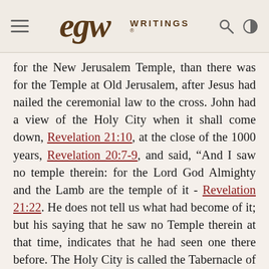EGW WRITINGS
for the New Jerusalem Temple, than there was for the Temple at Old Jerusalem, after Jesus had nailed the ceremonial law to the cross. John had a view of the Holy City when it shall come down, Revelation 21:10, at the close of the 1000 years, Revelation 20:7-9, and said, “And I saw no temple therein: for the Lord God Almighty and the Lamb are the temple of it - Revelation 21:22. He does not tell us what had become of it; but his saying that he saw no Temple therein at that time, indicates that he had seen one there before. The Holy City is called the Tabernacle of God, Revelation 21:3; Isaiah 33:20; but it is not called so, until it is situated on the New Earth. The City is also called the Temple of God, Revelation 17:15; but not until the saints are raised, and